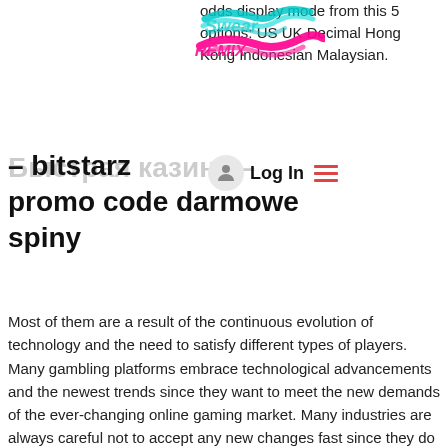odds display mode from this 5 options: US UK Decimal Hong Kong Indonesian Malaysian.
[Figure (illustration): Colorful graffiti-style watermark/logo overlay on top of content, with pink and teal brush lettering.]
[Figure (other): UI login button with avatar circle icon and hamburger menu lines, overlaid on the heading area.]
Быстрая казине – bitstarz promo code darmowe spiny
Most of them are a result of the continuous evolution of technology and the need to satisfy different types of players. Many gambling platforms embrace technological advancements and the newest trends since they want to meet the new demands of the ever-changing online gaming market. Many industries are always careful not to accept any new changes fast since they do not know their respective future impacts, bitstarz casino: 20 free spins. Also, others wait to see how they'll affect the industries that are quick to accept them. Basically, they fear